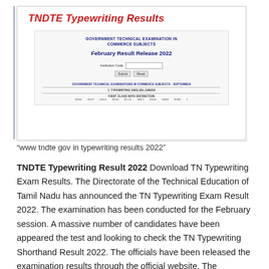[Figure (screenshot): Screenshot of TNDTE typewriting results portal showing 'GOVERNMENT TECHNICAL EXAMINATION IN COMMERCE SUBJECTS', 'February Result Release 2022', a form with Institution Code field and Submit/Reset buttons, and a partial result table with FIRST CLASS WITH DISTINCTION entries.]
“www tndte gov in typewriting results 2022”
TNDTE Typewriting Result 2022 Download TN Typewriting Exam Results. The Directorate of the Technical Education of Tamil Nadu has announced the TN Typewriting Exam Result 2022. The examination has been conducted for the February session. A massive number of candidates have been appeared the test and looking to check the TN Typewriting Shorthand Result 2022. The officials have been released the examination results through the official website. The candidates who